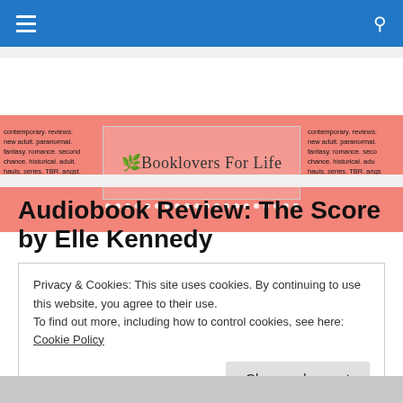[Figure (screenshot): Blue navigation bar with hamburger menu icon on left and search icon on right]
[Figure (logo): Booklovers For Life website banner in pink/salmon with logo in center and repeated text on sides]
Audiobook Review: The Score by Elle Kennedy
Privacy & Cookies: This site uses cookies. By continuing to use this website, you agree to their use.
To find out more, including how to control cookies, see here: Cookie Policy
Close and accept